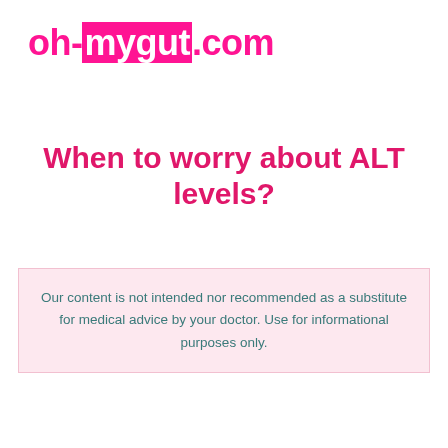oh-mygut.com
When to worry about ALT levels?
Our content is not intended nor recommended as a substitute for medical advice by your doctor. Use for informational purposes only.